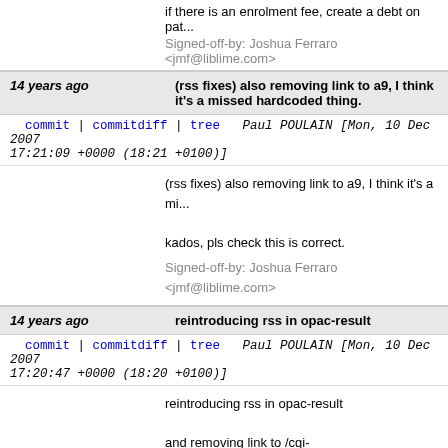if there is an enrolment fee, create a debt on pat...
Signed-off-by: Joshua Ferraro <jmf@liblime.com>
14 years ago   (rss fixes) also removing link to a9, I think it's a missed hardcoded thing.
commit | commitdiff | tree   Paul POULAIN [Mon, 10 Dec 2007 17:21:09 +0000 (18:21 +0100)]
(rss fixes) also removing link to a9, I think it's a mi...

kados, pls check this is correct.

Signed-off-by: Joshua Ferraro <jmf@liblime.com>
14 years ago   reintroducing rss in opac-result
commit | commitdiff | tree   Paul POULAIN [Mon, 10 Dec 2007 17:20:47 +0000 (18:20 +0100)]
reintroducing rss in opac-result

and removing link to /cgi-bin/koha/opensearch, that is not available in Koha...

Signed-off-by: Joshua Ferraro <jmf@liblime.com>
14 years ago   Showing: ...